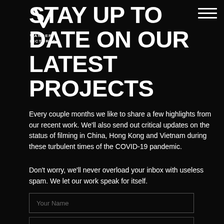WANDER PICTURES
STAY UP TO DATE ON OUR LATEST PROJECTS
Every couple months we like to share a few highlights from our recent work. We'll also send out critical updates on the status of filming in China, Hong Kong and Vietnam during these turbulent times of the COVID-19 pandemic.
Don't worry, we'll never overload your inbox with useless spam. We let our work speak for itself.
Your Name
Email Address